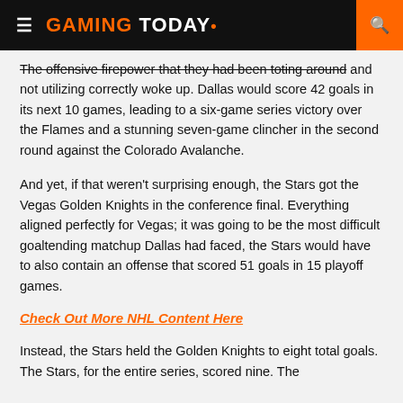Gaming Today
The offensive firepower that they had been toting around and not utilizing correctly woke up. Dallas would score 42 goals in its next 10 games, leading to a six-game series victory over the Flames and a stunning seven-game clincher in the second round against the Colorado Avalanche.
And yet, if that weren't surprising enough, the Stars got the Vegas Golden Knights in the conference final. Everything aligned perfectly for Vegas; it was going to be the most difficult goaltending matchup Dallas had faced, the Stars would have to also contain an offense that scored 51 goals in 15 playoff games.
Check Out More NHL Content Here
Instead, the Stars held the Golden Knights to eight total goals. The Stars, for the entire series, scored nine. The